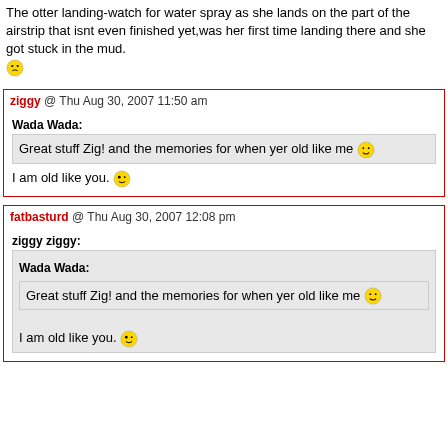The otter landing-watch for water spray as she lands on the part of the airstrip that isnt even finished yet,was her first time landing there and she got stuck in the mud. [emoji: annoyed face]
ziggy @ Thu Aug 30, 2007 11:50 am
Wada Wada: Great stuff Zig! and the memories for when yer old like me [emoji: smiley]
I am old like you. [emoji: wink]
fatbasturd @ Thu Aug 30, 2007 12:08 pm
ziggy ziggy: Wada Wada: Great stuff Zig! and the memories for when yer old like me [emoji: smiley] I am old like you. [emoji: wink]